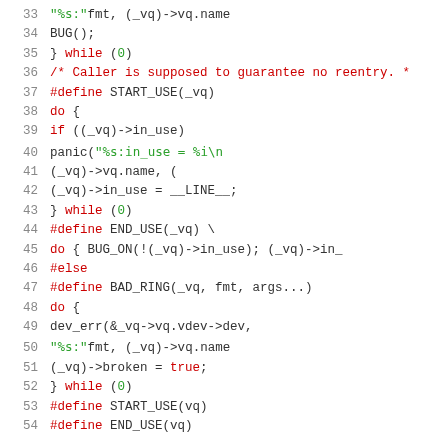[Figure (screenshot): Source code snippet showing C preprocessor macro definitions for BAD_RING, START_USE, and END_USE, with syntax highlighting. Lines 33-54 visible.]